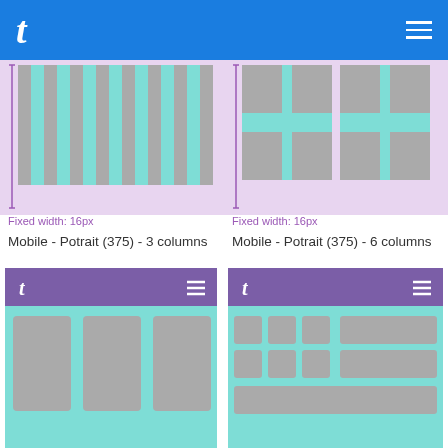t [logo] — navigation bar
[Figure (illustration): Grid layout diagram showing fixed-width column system with vertical purple measurement line indicating Fixed width: 16px — left panel]
Fixed width: 16px
[Figure (illustration): Grid layout diagram showing fixed-width column system with vertical purple measurement line indicating Fixed width: 16px — right panel]
Fixed width: 16px
Mobile - Potrait (375) - 3 columns
Mobile - Potrait (375) - 6 columns
[Figure (screenshot): Mobile portrait 375px 3-column grid mockup with purple header bar showing 't' logo and hamburger menu, cyan and gray columns below]
[Figure (screenshot): Mobile portrait 375px 6-column grid mockup with purple header bar showing 't' logo and hamburger menu, smaller cyan and gray columns below]